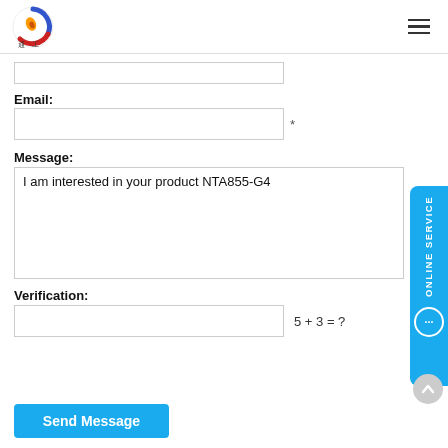[Figure (logo): Colorful circular logo with Chinese characters below]
Email:
Message:
I am interested in your product NTA855-G4
Verification:
5 + 3 = ?
Send Message